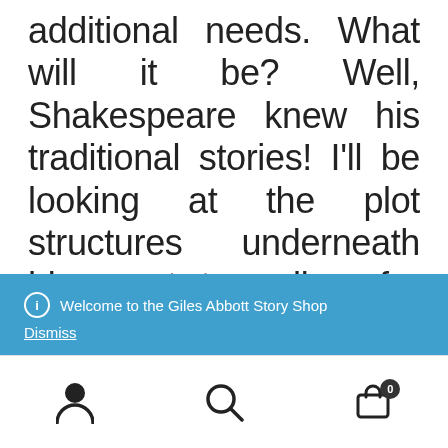additional needs. What will it be? Well, Shakespeare knew his traditional stories! I'll be looking at the plot structures underneath his great tragedies, for example Lear, Hamlet, MacBeth and Othello, and using them to help make up new stories with the participants. The
ℹ Welcome to the Giles Abbott Story Shop
Dismiss
[Figure (other): Bottom navigation bar with user/account icon, search icon, and shopping cart icon with badge showing 0]